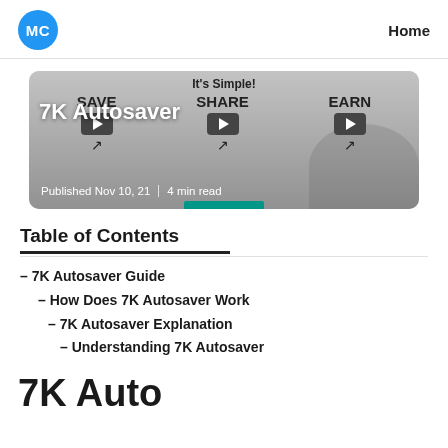MC | Home
[Figure (screenshot): Hero card with SAVE, SHARE, EARN sections, play buttons, and article title '7K Autosaver'. Published Nov 10, 21 | 4 min read. Labeled 'It's Simple!' at top.]
Table of Contents
– 7K Autosaver Guide
– How Does 7K Autosaver Work
– 7K Autosaver Explanation
– Understanding 7K Autosaver
7K Autosaver Gui…